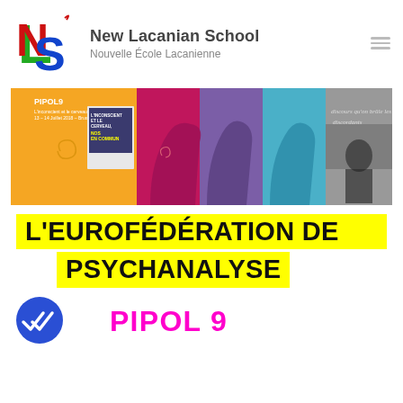[Figure (logo): New Lacanian School NLS logo with colorful interlocking letters]
New Lacanian School
Nouvelle École Lacanienne
[Figure (infographic): Banner image showing colorful silhouette profiles and conference materials for PIPOL9]
L'EUROFÉDÉRATION DE PSYCHANALYSE
[Figure (other): Blue circular badge with double checkmark icon]
PIPOL 9